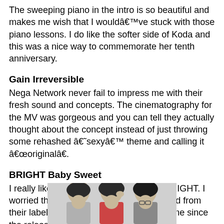The sweeping piano in the intro is so beautiful and makes me wish that I wouldâ€™ve stuck with those piano lessons. I do like the softer side of Koda and this was a nice way to commemorate her tenth anniversary.
Gain Irreversible
Nega Network never fail to impress me with their fresh sound and concepts. The cinematography for the MV was gorgeous and you can tell they actually thought about the concept instead of just throwing some rehashed â€˜sexyâ€™ theme and calling it â€œoriginalâ€.
BRIGHT Baby Sweet
I really liked the old school sound from BRIGHT. I worried that maybe they had been dropped from their label since it had been quite some time since the release of their album Real
[Figure (photo): Photo of three young people (band members) with dark hair, partial view at bottom of page]